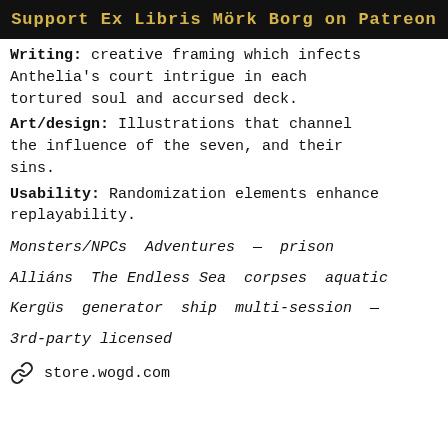Support Ex Libris Mörk Borg on Patreon
Writing: creative framing which infects Anthelia's court intrigue in each tortured soul and accursed deck.
Art/design: Illustrations that channel the influence of the seven, and their sins.
Usability: Randomization elements enhance replayability.
Monsters/NPCs  Adventures —  prison
Alliáns  The Endless Sea  corpses  aquatic
Kergüs  generator  ship  multi-session  —
3rd-party licensed
store.wogd.com